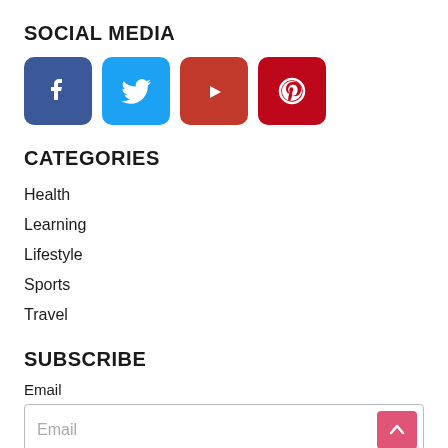SOCIAL MEDIA
[Figure (infographic): Four social media icons: Facebook (blue), Twitter (light blue), YouTube (red), Pinterest (dark red)]
CATEGORIES
Health
Learning
Lifestyle
Sports
Travel
SUBSCRIBE
Email
[Figure (screenshot): Email input field with placeholder text 'Email' and a pink arrow-up button, followed by a partially visible grey submit button]